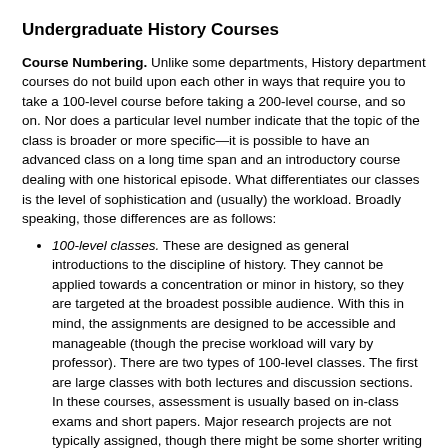Undergraduate History Courses
Course Numbering. Unlike some departments, History department courses do not build upon each other in ways that require you to take a 100-level course before taking a 200-level course, and so on. Nor does a particular level number indicate that the topic of the class is broader or more specific—it is possible to have an advanced class on a long time span and an introductory course dealing with one historical episode. What differentiates our classes is the level of sophistication and (usually) the workload. Broadly speaking, those differences are as follows:
100-level classes. These are designed as general introductions to the discipline of history. They cannot be applied towards a concentration or minor in history, so they are targeted at the broadest possible audience. With this in mind, the assignments are designed to be accessible and manageable (though the precise workload will vary by professor). There are two types of 100-level classes. The first are large classes with both lectures and discussion sections. In these courses, assessment is usually based on in-class exams and short papers. Major research projects are not typically assigned, though there might be some shorter writing assignments. The second type of 100-level class is the first-year seminar (HISTORY 195, 196, and 197). These are typically writing-intensive courses that focus on discussion rather than lecture, and they are capped to ensure small class sizes.
200-level classes. These are intended as introductory courses for history concentrators and as electives for non-concentrators. Most